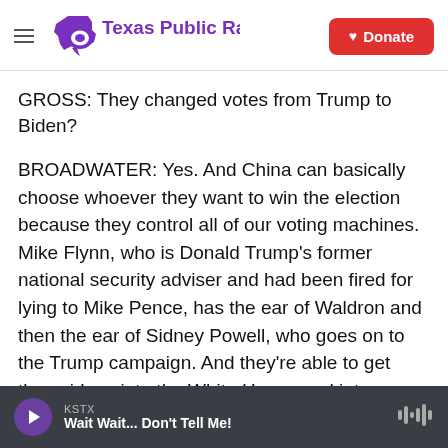[Figure (logo): Texas Public Radio logo with hamburger menu icon on the left and a red Donate button on the right]
GROSS: They changed votes from Trump to Biden?
BROADWATER: Yes. And China can basically choose whoever they want to win the election because they control all of our voting machines. Mike Flynn, who is Donald Trump's former national security adviser and had been fired for lying to Mike Pence, has the ear of Waldron and then the ear of Sidney Powell, who goes on to the Trump campaign. And they're able to get these ideas into the White House and into Donald Trump. Waldron circulates this 38-page PowerPoint, which details
KSTX
Wait Wait... Don't Tell Me!